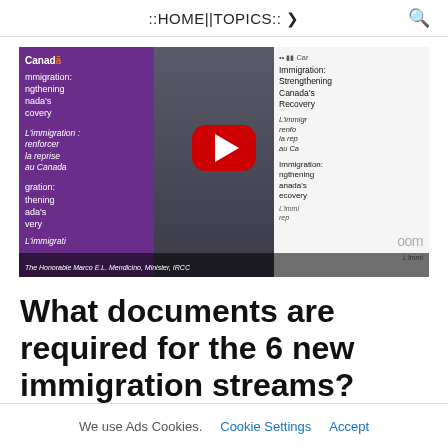::HOME||TOPICS:: ▾
[Figure (screenshot): YouTube video thumbnail showing a Canadian government official speaking at a press conference about immigration. Purple 'Canada' banners visible on both sides with text 'Immigration: Strengthening Canada's Recovery' and French translation 'L'immigration: renforcer la reprise au Canada'. A red YouTube play button overlay is visible. Caption at bottom reads 'The Honorable Marco E.L. Mendicino, Minister, IRCC'.]
What documents are required for the 6 new immigration streams?
We use Ads Cookies.   Cookie Settings   Accept